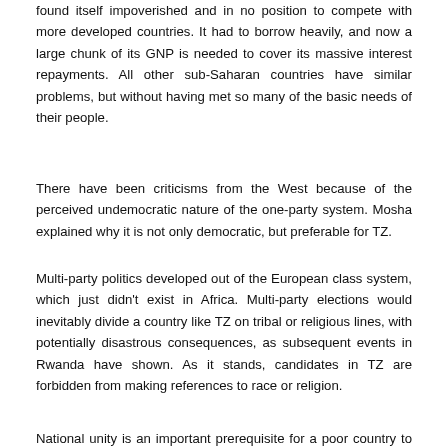found itself impoverished and in no position to compete with more developed countries. It had to borrow heavily, and now a large chunk of its GNP is needed to cover its massive interest repayments. All other sub-Saharan countries have similar problems, but without having met so many of the basic needs of their people.
There have been criticisms from the West because of the perceived undemocratic nature of the one-party system. Mosha explained why it is not only democratic, but preferable for TZ.
Multi-party politics developed out of the European class system, which just didn't exist in Africa. Multi-party elections would inevitably divide a country like TZ on tribal or religious lines, with potentially disastrous consequences, as subsequent events in Rwanda have shown. As it stands, candidates in TZ are forbidden from making references to race or religion.
National unity is an important prerequisite for a poor country to develop in a co-operative, egalitarian way, especially in